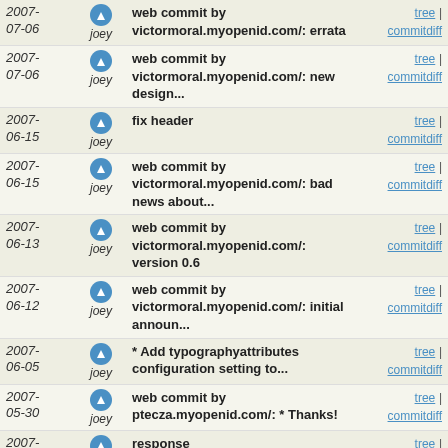| Date | Author | Message | Links |
| --- | --- | --- | --- |
| 2007-07-06 | joey | web commit by victormoral.myopenid.com/: errata | tree | commitdiff |
| 2007-07-06 | joey | web commit by victormoral.myopenid.com/: new design... | tree | commitdiff |
| 2007-06-15 | joey | fix header | tree | commitdiff |
| 2007-06-15 | joey | web commit by victormoral.myopenid.com/: bad news about... | tree | commitdiff |
| 2007-06-13 | joey | web commit by victormoral.myopenid.com/: version 0.6 | tree | commitdiff |
| 2007-06-12 | joey | web commit by victormoral.myopenid.com/: initial announ... | tree | commitdiff |
| 2007-06-05 | joey | * Add typographyattributes configuration setting to... | tree | commitdiff |
| 2007-05-30 | joey | web commit by ptecza.myopenid.com/: * Thanks! | tree | commitdiff |
| 2007-05-30 | joey | response | tree | commitdiff |
| 2007-05-30 | joey | web commit by ptecza.myopenid.com/: * Question about... | tree | commitdiff |
| 2007-05-28 | joey | * Apply a patch from Carl Worth allowing a class attrib... | tree | commitdiff |
| 2007-05-28 | joey | escape some code | tree | commitdiff |